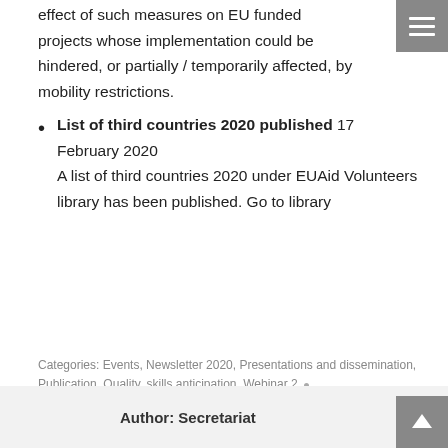effect of such measures on EU funded projects whose implementation could be hindered, or partially / temporarily affected, by mobility restrictions.
List of third countries 2020 published 17 February 2020 A list of third countries 2020 under EUAid Volunteers library has been published. Go to library
Categories: Events, Newsletter 2020, Presentations and dissemination, Publication, Quality, skills anticipation, Webinar 2, Webinars
By Secretariat • 23 June 2020 • 2 Comments
Author: Secretariat